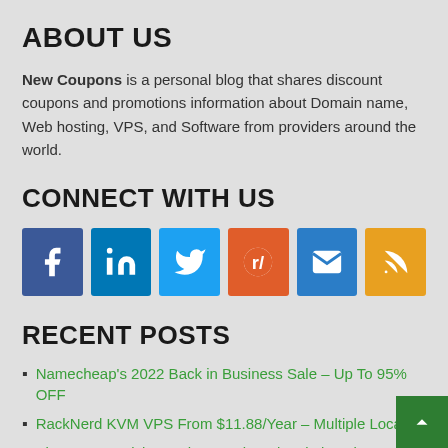ABOUT US
New Coupons is a personal blog that shares discount coupons and promotions information about Domain name, Web hosting, VPS, and Software from providers around the world.
CONNECT WITH US
[Figure (infographic): Row of 6 social media icon buttons: Facebook (blue), LinkedIn (blue), Twitter (light blue), Reddit (orange-red), Email (blue), RSS (orange)]
RECENT POSTS
Namecheap's 2022 Back in Business Sale – Up To 95% OFF
RackNerd KVM VPS From $11.88/Year – Multiple Locations
Vimeo New Pricing – Three Main Subscription Tiers